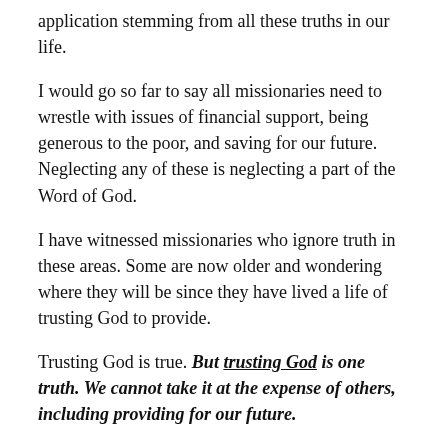application stemming from all these truths in our life.
I would go so far to say all missionaries need to wrestle with issues of financial support, being generous to the poor, and saving for our future. Neglecting any of these is neglecting a part of the Word of God.
I have witnessed missionaries who ignore truth in these areas. Some are now older and wondering where they will be since they have lived a life of trusting God to provide.
Trusting God is true. But trusting God is one truth. We cannot take it at the expense of others, including providing for our future.
My goal is not to make absolute statements, rather to